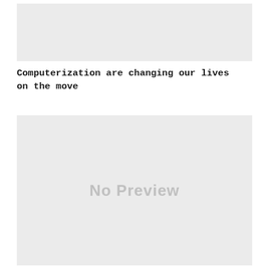[Figure (other): Gray placeholder image box at top of page]
Computerization are changing our lives on the move
[Figure (other): Large gray placeholder image box with 'No Preview' text]